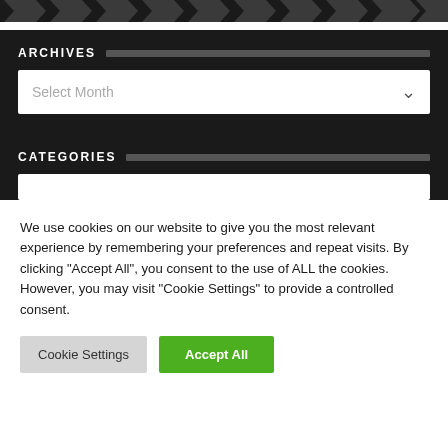[Figure (other): Dark navigation chevron/arrow strip at the top of the page]
ARCHIVES
Select Month
CATEGORIES
We use cookies on our website to give you the most relevant experience by remembering your preferences and repeat visits. By clicking "Accept All", you consent to the use of ALL the cookies. However, you may visit "Cookie Settings" to provide a controlled consent.
Cookie Settings
Accept All